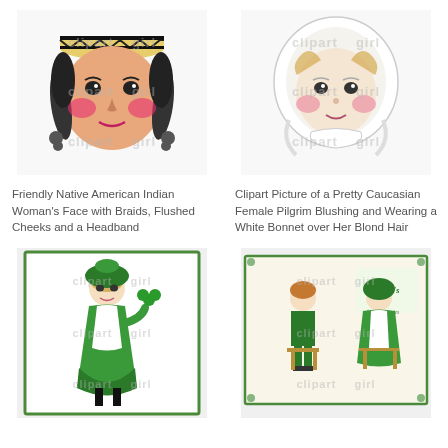[Figure (illustration): Cartoon illustration of a Friendly Native American Indian Woman's Face with Braids, Flushed Cheeks and a Headband, with clipart watermark]
[Figure (illustration): Cartoon illustration of a Pretty Caucasian Female Pilgrim Blushing and Wearing a White Bonnet over Her Blond Hair, with clipart watermark]
Friendly Native American Indian Woman's Face with Braids, Flushed Cheeks and a Headband
Clipart Picture of a Pretty Caucasian Female Pilgrim Blushing and Wearing a White Bonnet over Her Blond Hair
[Figure (illustration): Vintage illustration of a girl in green St. Patrick's Day dress holding shamrocks, with decorative border and clipart watermark]
[Figure (illustration): Vintage St. Patrick's Day postcard illustration showing a boy and girl in green outfits, with decorative border and clipart watermark]